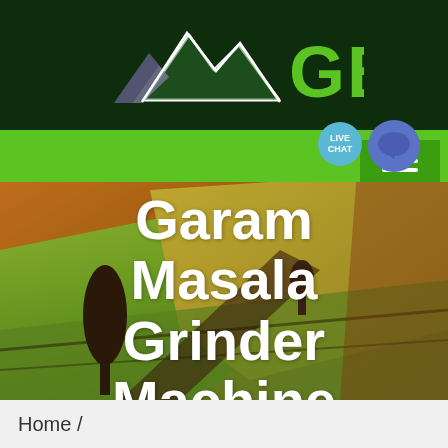[Figure (logo): GBM logo with mountain/arrow icon in white on dark green background with green text 'GBM']
[Figure (photo): Aerial photograph of agricultural fields with warm orange-green tones and trees]
Garam Masala Grinder Machine
Home /